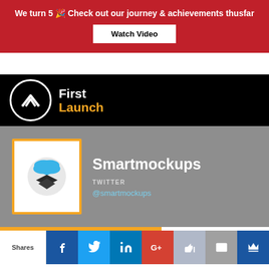We turn 5 🎉 Check out our journey & achievements thusfar
Watch Video
[Figure (logo): First Launch logo with circular icon and orange 'Launch' text on black background]
[Figure (illustration): Smartmockups product card with orange-bordered icon, product name and Twitter handle @smartmockups on gray background]
Shares